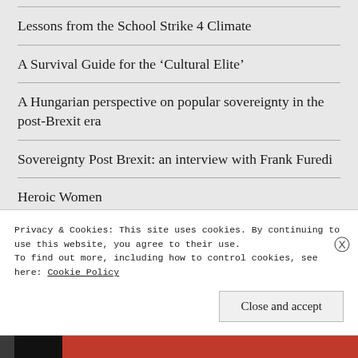Lessons from the School Strike 4 Climate
A Survival Guide for the ‘Cultural Elite’
A Hungarian perspective on popular sovereignty in the post-Brexit era
Sovereignty Post Brexit: an interview with Frank Furedi
Heroic Women
Why Did Theresa May’s Tories Fail So Badly? (hint: it’s Brexit related)
Privacy & Cookies: This site uses cookies. By continuing to use this website, you agree to their use.
To find out more, including how to control cookies, see here: Cookie Policy
Close and accept